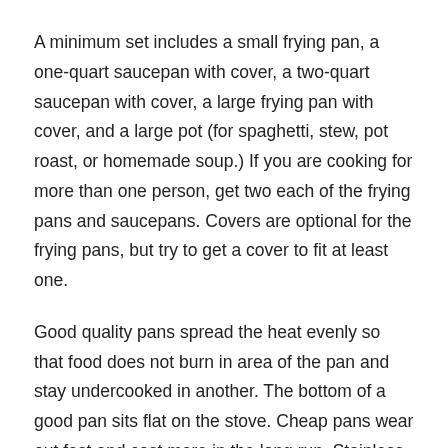A minimum set includes a small frying pan, a one-quart saucepan with cover, a two-quart saucepan with cover, a large frying pan with cover, and a large pot (for spaghetti, stew, pot roast, or homemade soup.) If you are cooking for more than one person, get two each of the frying pans and saucepans. Covers are optional for the frying pans, but try to get a cover to fit at least one.
Good quality pans spread the heat evenly so that food does not burn in area of the pan and stay undercooked in another. The bottom of a good pan sits flat on the stove. Cheap pans wear out fast and cost more in the long run. Stainless steel pans with a porcelain coating or a copper bottom are excellent. Stay away from aluminum pans. They get bent out of shape easily and do not last. There have also been some health warnings about cooking in aluminum, but no real proof of any danger.
When using pans with a non-stick coating, turn the heat up only as